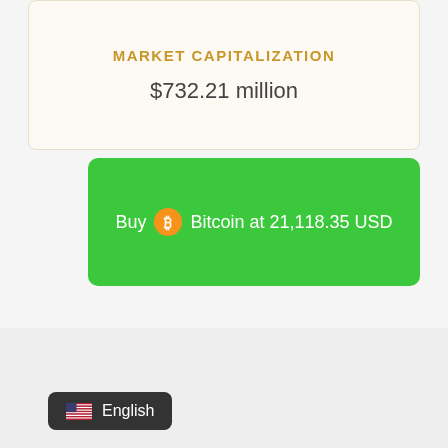MARKET CAPITALIZATION
$732.21 million
Buy Bitcoin at 21,118.35 USD
English